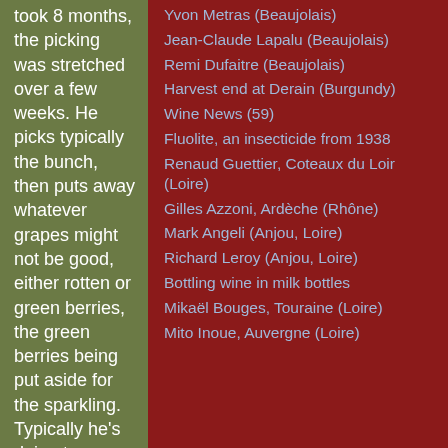took 8 months, the picking was stretched over a few weeks. He picks typically the bunch, then puts away whatever grapes might not be good, either rotten or green berries, the green berries being put aside for the sparkling. Typically he's doing two passes per row,
Yvon Metras (Beaujolais)
Jean-Claude Lapalu (Beaujolais)
Remi Dufaitre (Beaujolais)
Harvest end at Derain (Burgundy)
Wine News (59)
Fluolite, an insecticide from 1938
Renaud Guettier, Coteaux du Loir (Loire)
Gilles Azzoni, Ardèche (Rhône)
Mark Angeli (Anjou, Loire)
Richard Leroy (Anjou, Loire)
Bottling wine in milk bottles
Mikaël Bouges, Touraine (Loire)
Mito Inoue, Auvergne (Loire)